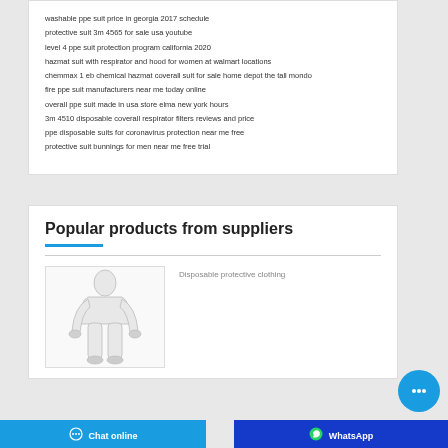washable ppe suit price in georgia 2017 schedule
protective suit 3m 4565 for sale usa youtube
level 4 ppe suit protection program california 2020
hazmat suit with respirator and hood for women at walmart locations
chemmax 1 eb chemical hazmat coverall suit for sale home depot the tall mondo
fire ppe suit manufacturers near me today online
overall ppe suit made in usa store elma new york hours
3m 4510 disposable coverall respirator filters reviews and price
ppe disposable suits for coronavirus protection near me free
protective suit bunnings for men near me free trial
Popular products from suppliers
Disposable protective clothing
Chat online
WhatsApp